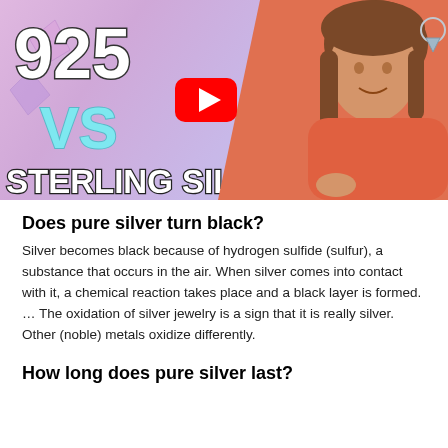[Figure (screenshot): YouTube video thumbnail showing '925 VS STERLING SILVER' text with a woman in an orange sweater and a YouTube play button in the center]
Does pure silver turn black?
Silver becomes black because of hydrogen sulfide (sulfur), a substance that occurs in the air. When silver comes into contact with it, a chemical reaction takes place and a black layer is formed. … The oxidation of silver jewelry is a sign that it is really silver. Other (noble) metals oxidize differently.
How long does pure silver last?